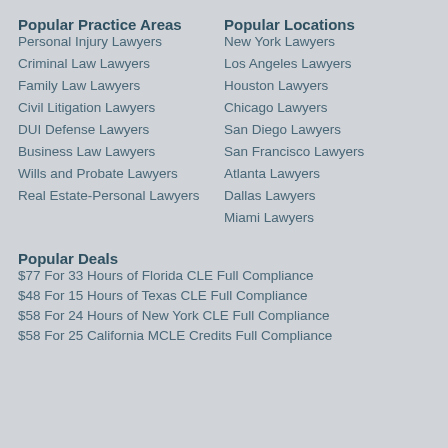Popular Practice Areas
Personal Injury Lawyers
Criminal Law Lawyers
Family Law Lawyers
Civil Litigation Lawyers
DUI Defense Lawyers
Business Law Lawyers
Wills and Probate Lawyers
Real Estate-Personal Lawyers
Popular Locations
New York Lawyers
Los Angeles Lawyers
Houston Lawyers
Chicago Lawyers
San Diego Lawyers
San Francisco Lawyers
Atlanta Lawyers
Dallas Lawyers
Miami Lawyers
Popular Deals
$77 For 33 Hours of Florida CLE Full Compliance
$48 For 15 Hours of Texas CLE Full Compliance
$58 For 24 Hours of New York CLE Full Compliance
$58 For 25 California MCLE Credits Full Compliance